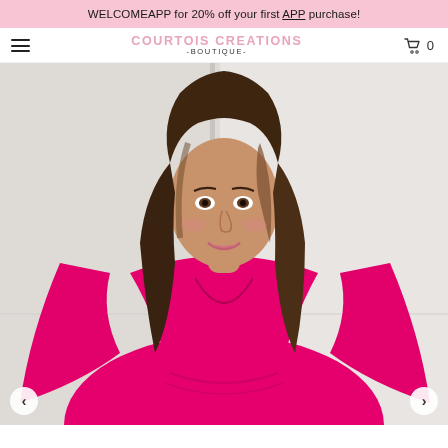WELCOMEAPP for 20% off your first APP purchase!
[Figure (logo): Courtois Creations -BOUTIQUE- logo in pink lettering]
[Figure (photo): Woman wearing hot pink long-sleeve V-neck top, smiling, light background]